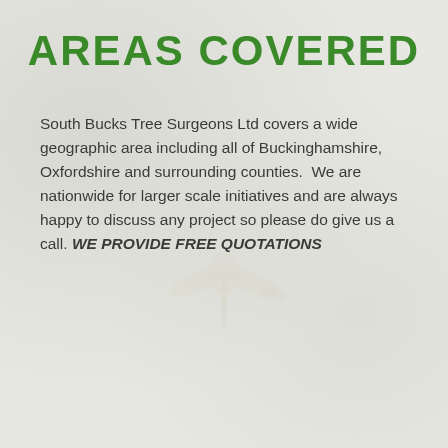AREAS COVERED
South Bucks Tree Surgeons Ltd covers a wide geographic area including all of Buckinghamshire, Oxfordshire and surrounding counties.  We are nationwide for larger scale initiatives and are always happy to discuss any project so please do give us a call. WE PROVIDE FREE QUOTATIONS
[Figure (illustration): Faint watermark illustration of a tree or leaf motif in pale cream/beige tones centered in the lower portion of the page]